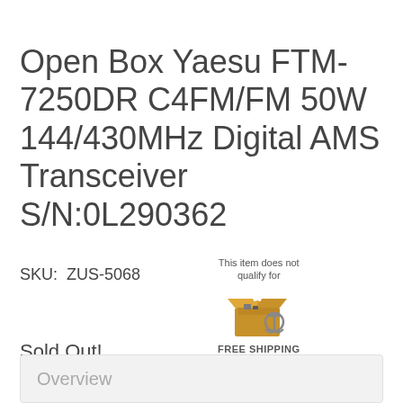Open Box Yaesu FTM-7250DR C4FM/FM 50W 144/430MHz Digital AMS Transceiver S/N:0L290362
SKU:  ZUS-5068
[Figure (illustration): Shipping badge showing an open cardboard box with items and an anchor, with text 'This item does not qualify for FREE SHIPPING']
Sold Out!
Overview